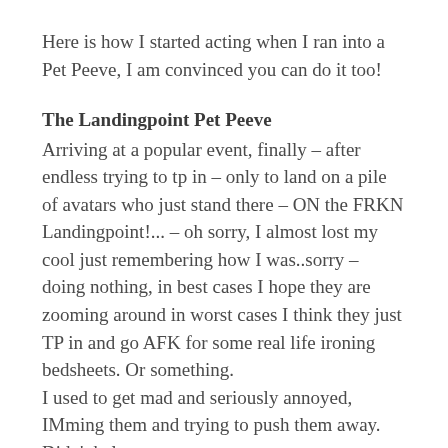Here is how I started acting when I ran into a Pet Peeve, I am convinced you can do it too!
The Landingpoint Pet Peeve
Arriving at a popular event, finally – after endless trying to tp in – only to land on a pile of avatars who just stand there – ON the FRKN Landingpoint!... – oh sorry, I almost lost my cool just remembering how I was..sorry – doing nothing, in best cases I hope they are zooming around in worst cases I think they just TP in and go AFK for some real life ironing bedsheets. Or something.
I used to get mad and seriously annoyed, IMming them and trying to push them away. Didn't help.